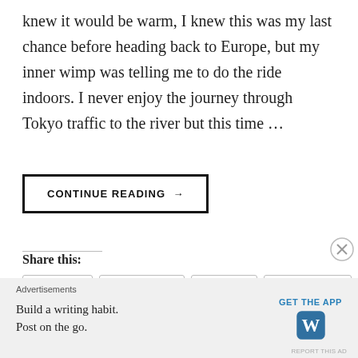knew it would be warm, I knew this was my last chance before heading back to Europe, but my inner wimp was telling me to do the ride indoors. I never enjoy the journey through Tokyo traffic to the river but this time …
CONTINUE READING →
Share this:
Twitter  Facebook  Email  WhatsApp
Loading...
Advertisements
Build a writing habit. Post on the go.
GET THE APP